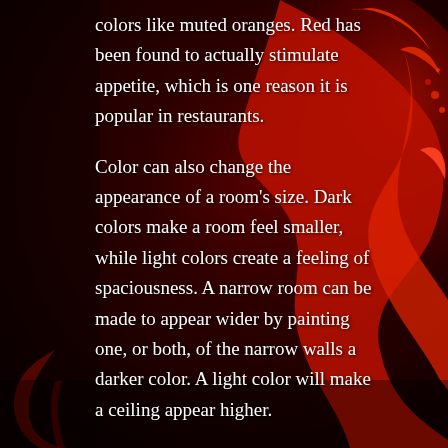[Figure (photo): A dramatic splash of bright red paint or liquid against a very dark red/black background, with dynamic splatter and drip patterns visible on the right and lower portions of the image.]
colors like muted oranges. Red has been found to actually stimulate appetite, which is one reason it is popular in restaurants.
Color can also change the appearance of a room's size. Dark colors make a room feel smaller, while light colors create a feeling of spaciousness. A narrow room can be made to appear wider by painting one, or both, of the narrow walls a darker color. A light color will make a ceiling appear higher.
Because color is a response to light reflected from an object, the light source can have an impact of the appearance of a color. The same color may look considerably different in natural light, incandescent light., and fluorescent light. Each light source emits different amounts of energy in the visible spectrum, and can enhance or subdue a particular color.